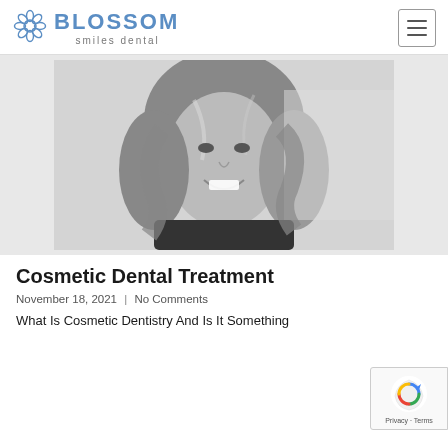BLOSSOM smiles dental
[Figure (photo): Black and white portrait photo of a smiling woman with wavy hair wearing a dark top]
Cosmetic Dental Treatment
November 18, 2021 | No Comments
What Is Cosmetic Dentistry And Is It Something